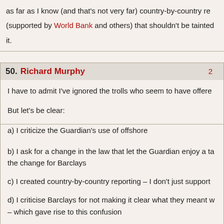as far as I know (and that's not very far) country-by-country re... (supported by World Bank and others) that shouldn't be tainted... it.
50. Richard Murphy  2...
I have to admit I've ignored the trolls who seem to have offere...
But let's be clear:
a) I criticize the Guardian's use of offshore
b) I ask for a change in the law that let the Guardian enjoy a ta... the change for Barclays
c) I created country-by-country reporting – I don't just support ...
d) I criticise Barclays for not making it clear what they meant w... – which gave rise to this confusion
e) And although many of you seem to love to criticise – has an...